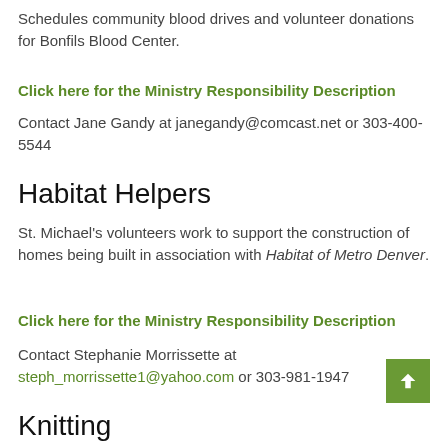Schedules community blood drives and volunteer donations for Bonfils Blood Center.
Click here for the Ministry Responsibility Description
Contact Jane Gandy at janegandy@comcast.net or 303-400-5544
Habitat Helpers
St. Michael's volunteers work to support the construction of homes being built in association with Habitat of Metro Denver.
Click here for the Ministry Responsibility Description
Contact Stephanie Morrissette at steph_morrissette1@yahoo.com or 303-981-1947
Knitting